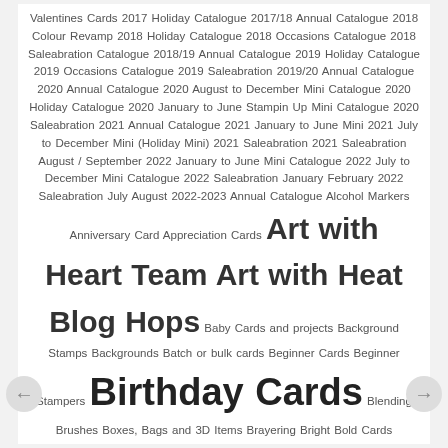Valentines Cards 2017 Holiday Catalogue 2017/18 Annual Catalogue 2018 Colour Revamp 2018 Holiday Catalogue 2018 Occasions Catalogue 2018 Saleabration Catalogue 2018/19 Annual Catalogue 2019 Holiday Catalogue 2019 Occasions Catalogue 2019 Saleabration 2019/20 Annual Catalogue 2020 Annual Catalogue 2020 August to December Mini Catalogue 2020 Holiday Catalogue 2020 January to June Stampin Up Mini Catalogue 2020 Saleabration 2021 Annual Catalogue 2021 January to June Mini 2021 July to December Mini (Holiday Mini) 2021 Saleabration 2021 Saleabration August / September 2022 January to June Mini Catalogue 2022 July to December Mini Catalogue 2022 Saleabration January February 2022 Saleabration July August 2022-2023 Annual Catalogue Alcohol Markers Anniversary Card Appreciation Cards Art with Heart Team Art with Heat Blog Hops Baby Cards and projects Background Stamps Backgrounds Batch or bulk cards Beginner Cards Beginner Stampers Birthday Cards Blending Brushes Boxes, Bags and 3D Items Brayering Bright Bold Cards Bundles: Punches and dies with matching stamp sets. Butterflies Card Kits by Claire Daly Card Kits by Stampin' Up! Card Sketches Catalogues Christmas cards and other papercraft projects. Christmas Ornaments Class by Mail Classes Clearance Rack Clubs Colour Challenges Colour Combinations Colour Creations Blog Hop Coloured Images Colour Congratulations Cards Delicata Metallic Inks Designer Series Paper Dies Distinktive Stamps DSP Cutting Templates Easter Projects